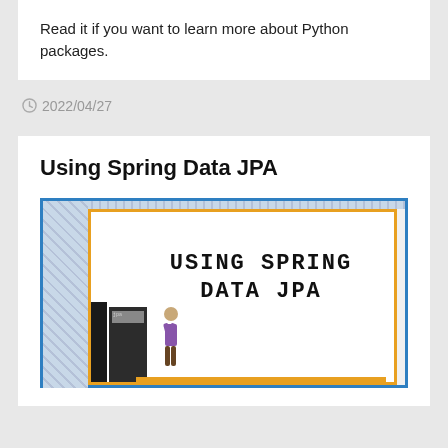Read it if you want to learn more about Python packages.
2022/04/27
Using Spring Data JPA
[Figure (illustration): Book cover image with text 'USING SPRING DATA JPA' in large bold uppercase letters, with decorative blue and orange borders, a small book and figure illustration in the lower left corner.]